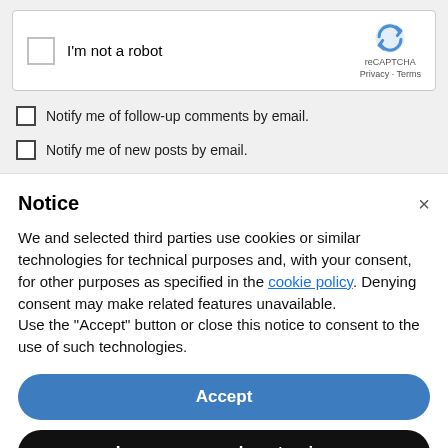[Figure (screenshot): reCAPTCHA widget with checkbox labeled 'I'm not a robot' and reCAPTCHA logo with Privacy and Terms links]
Notify me of follow-up comments by email.
Notify me of new posts by email.
Notice
We and selected third parties use cookies or similar technologies for technical purposes and, with your consent, for other purposes as specified in the cookie policy. Denying consent may make related features unavailable.
Use the "Accept" button or close this notice to consent to the use of such technologies.
Accept
Learn more and customise